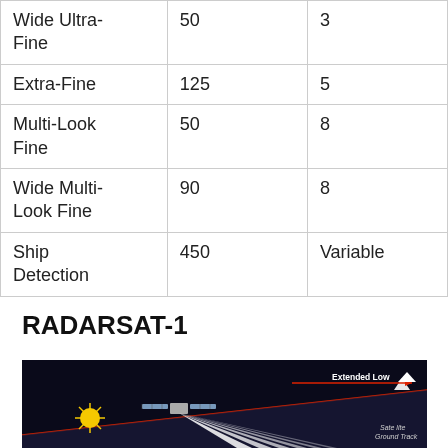| Wide Ultra-Fine | 50 | 3 |
| Extra-Fine | 125 | 5 |
| Multi-Look Fine | 50 | 8 |
| Wide Multi-Look Fine | 90 | 8 |
| Ship Detection | 450 | Variable |
RADARSAT-1
[Figure (illustration): RADARSAT-1 satellite diagram showing Extended Low beam mode with satellite ground track and beam geometry over dark background]